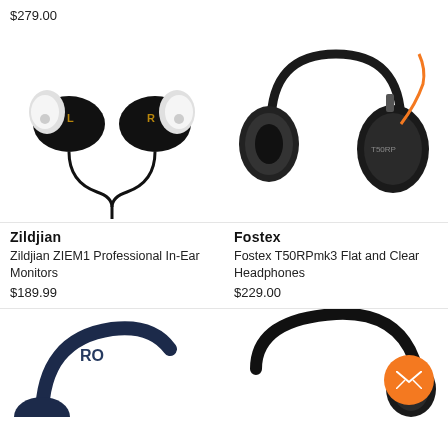$279.00
[Figure (photo): Zildjian ZIEM1 in-ear monitors, black with white ear tips, left and right earbuds shown]
Zildjian
Zildjian ZIEM1 Professional In-Ear Monitors
$189.99
[Figure (photo): Fostex T50RPmk3 over-ear headphones in black with orange cable accent]
Fostex
Fostex T50RPmk3 Flat and Clear Headphones
$229.00
[Figure (photo): Dark navy/blue headphones partially visible at bottom left]
[Figure (photo): Black headphones partially visible at bottom right with orange email contact button overlay]